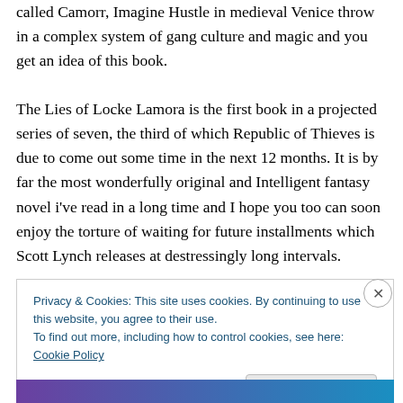called Camorr, Imagine Hustle in medieval Venice throw in a complex system of gang culture and magic and you get an idea of this book.
The Lies of Locke Lamora is the first book in a projected series of seven, the third of which Republic of Thieves is due to come out some time in the next 12 months. It is by far the most wonderfully original and Intelligent fantasy novel i've read in a long time and I hope you too can soon enjoy the torture of waiting for future installments which Scott Lynch releases at destressingly long intervals.
Privacy & Cookies: This site uses cookies. By continuing to use this website, you agree to their use.
To find out more, including how to control cookies, see here: Cookie Policy